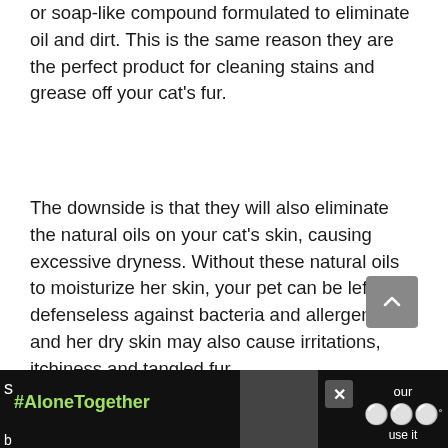or soap-like compound formulated to eliminate oil and dirt. This is the same reason they are the perfect product for cleaning stains and grease off your cat's fur.
The downside is that they will also eliminate the natural oils on your cat's skin, causing excessive dryness. Without these natural oils to moisturize her skin, your pet can be left defenseless against bacteria and allergens, and her dry skin may also cause irritations, itchiness and tangled fur.
[Figure (other): Advertisement banner at bottom of page showing #AloneTogether hashtag with an image of people waving and partial text on the right side]